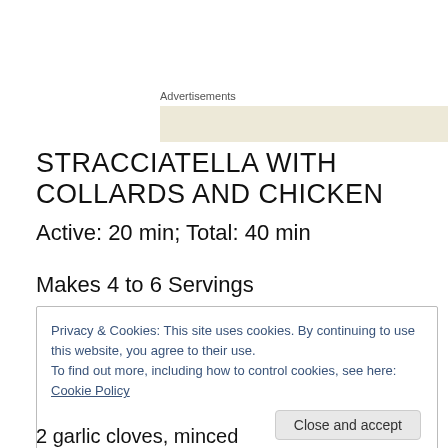Advertisements
STRACCIATELLA WITH COLLARDS AND CHICKEN
Active: 20 min; Total: 40 min
Makes 4 to 6 Servings
Privacy & Cookies: This site uses cookies. By continuing to use this website, you agree to their use.
To find out more, including how to control cookies, see here: Cookie Policy
Close and accept
2 garlic cloves, minced